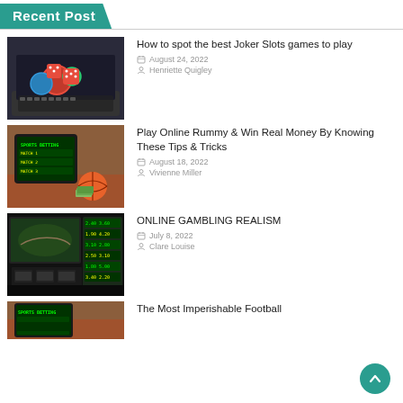Recent Post
How to spot the best Joker Slots games to play | August 24, 2022 | Henriette Quigley
Play Online Rummy & Win Real Money By Knowing These Tips & Tricks | August 18, 2022 | Vivienne Miller
ONLINE GAMBLING REALISM | July 8, 2022 | Clare Louise
The Most Imperishable Football...